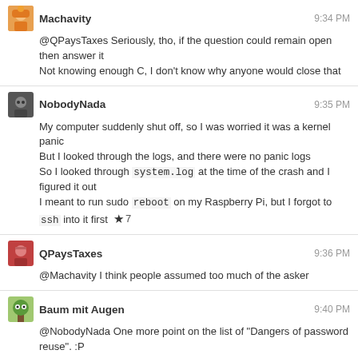Machavity 9:34 PM — @QPaysTaxes Seriously, tho, if the question could remain open then answer it. Not knowing enough C, I don't know why anyone would close that
NobodyNada 9:35 PM — My computer suddenly shut off, so I was worried it was a kernel panic. But I looked through the logs, and there were no panic logs. So I looked through system.log at the time of the crash and I figured it out. I meant to run sudo reboot on my Raspberry Pi, but I forgot to ssh into it first ★7
QPaysTaxes 9:36 PM — @Machavity I think people assumed too much of the asker
Baum mit Augen 9:40 PM — @NobodyNada One more point on the list of "Dangers of password reuse". :P
QPaysTaxes 9:40 PM — @BaummitAugen Not really. More the dangers of forgetting to run important commands. Like, if you're clearing out old files that you left in a directory badly named ~/etc after checking something in root, cd ~ is vital
NobodyNada 9:42 PM — @BaummitAugen yeah. I do use the same password on the Pi and my MacBook, but I use other passwords elsewhere. The Pi doesn't have a sudo password, but at the "Password:" prompt I instinctively typed it in without thinking.
QPaysTaxes 9:42 PM